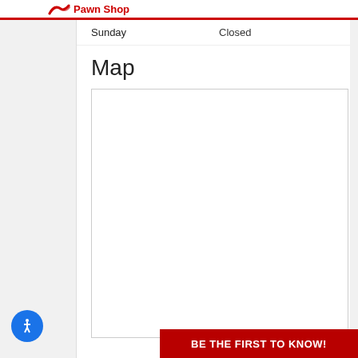Pawn Shop
| Day | Hours |
| --- | --- |
| Sunday | Closed |
Map
[Figure (map): Empty white map placeholder box with light gray border]
BE THE FIRST TO KNOW!